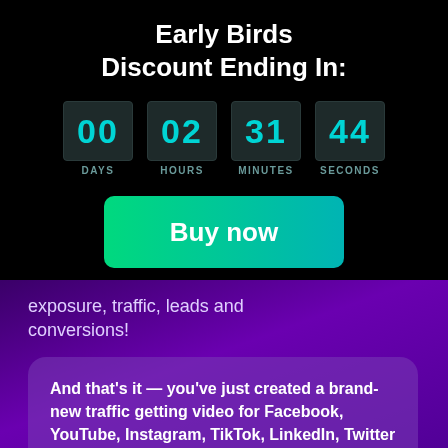Early Birds Discount Ending In:
[Figure (infographic): Countdown timer showing 00 DAYS, 02 HOURS, 31 MINUTES, 44 SECONDS in teal digits on dark boxes]
[Figure (infographic): Green-to-teal gradient Buy now button]
exposure, traffic, leads and conversions!
And that's it — you've just created a brand-new traffic getting video for Facebook, YouTube, Instagram, TikTok, LinkedIn, Twitter and more!